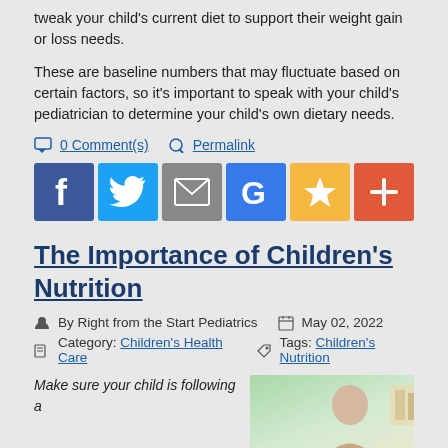tweak your child's current diet to support their weight gain or loss needs.
These are baseline numbers that may fluctuate based on certain factors, so it's important to speak with your child's pediatrician to determine your child's own dietary needs.
0 Comment(s)   Permalink
[Figure (infographic): Social sharing buttons: Facebook (blue), Twitter (light blue), Email (gray), Google (blue), Favorite star (yellow/gold), Add/Plus (orange-red)]
The Importance of Children's Nutrition
By Right from the Start Pediatrics   May 02, 2022
Category: Children's Health Care   Tags: Children's Nutrition
Make sure your child is following a